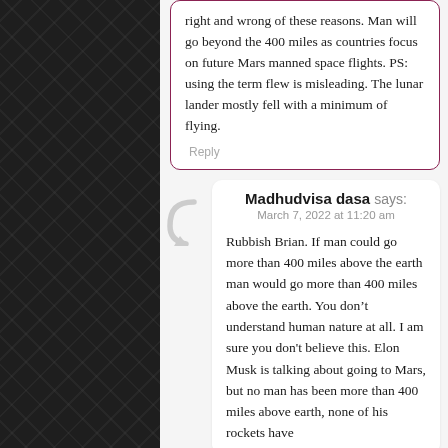right and wrong of these reasons. Man will go beyond the 400 miles as countries focus on future Mars manned space flights. PS: using the term flew is misleading. The lunar lander mostly fell with a minimum of flying.
Reply
Madhudvisa dasa says:
March 7, 2022 at 11:20 am
Rubbish Brian. If man could go more than 400 miles above the earth man would go more than 400 miles above the earth. You don’t understand human nature at all. I am sure you don't believe this. Elon Musk is talking about going to Mars, but no man has been more than 400 miles above earth, none of his rockets have